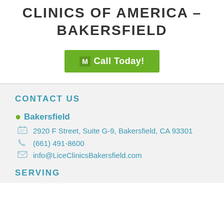CLINICS OF AMERICA – BAKERSFIELD
[Figure (other): Green 'Call Today!' button with phone icon]
CONTACT US
Bakersfield
2920 F Street, Suite G-9, Bakersfield, CA 93301
(661) 491-8600
info@LiceClinicsBakersfield.com
SERVING